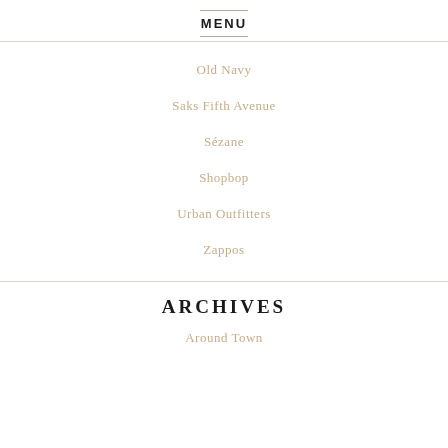MENU
Old Navy
Saks Fifth Avenue
Sézane
Shopbop
Urban Outfitters
Zappos
ARCHIVES
Around Town